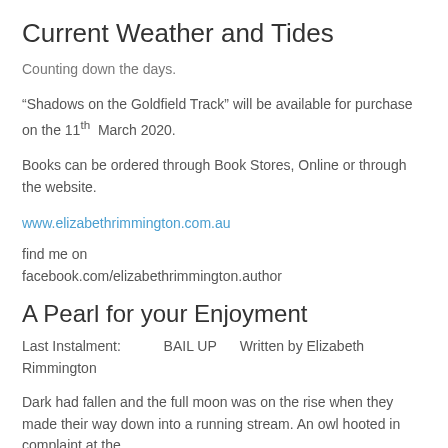Current Weather and Tides
Counting down the days.
“Shadows on the Goldfield Track” will be available for purchase on the 11th March 2020.
Books can be ordered through Book Stores, Online or through the website.
www.elizabethrimmington.com.au
find me on
facebook.com/elizabethrimmington.author
A Pearl for your Enjoyment
Last Instalment:          BAIL UP       Written by Elizabeth Rimmington
Dark had fallen and the full moon was on the rise when they made their way down into a running stream. An owl hooted in complaint at the